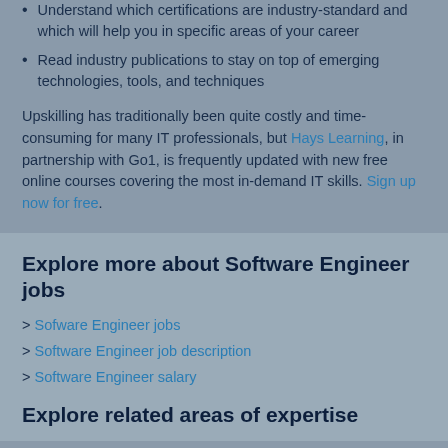Understand which certifications are industry-standard and which will help you in specific areas of your career
Read industry publications to stay on top of emerging technologies, tools, and techniques
Upskilling has traditionally been quite costly and time-consuming for many IT professionals, but Hays Learning, in partnership with Go1, is frequently updated with new free online courses covering the most in-demand IT skills. Sign up now for free.
Explore more about Software Engineer jobs
> Sofware Engineer jobs
> Software Engineer job description
> Software Engineer salary
Explore related areas of expertise